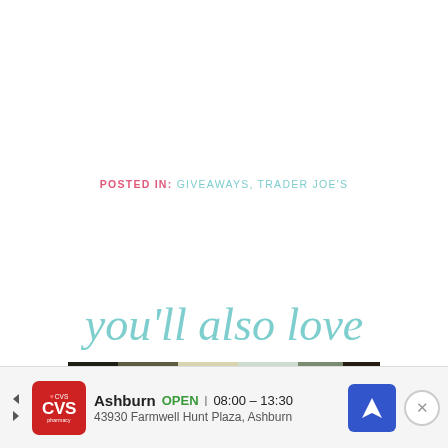POSTED IN: GIVEAWAYS, TRADER JOE'S
[Figure (illustration): Cursive script text reading 'you'll also love' in light teal/cyan color]
[Figure (photo): Partial thumbnail image showing trees and bokeh lights, light and dark tones]
[Figure (infographic): Advertisement banner: CVS pharmacy logo, Ashburn OPEN 08:00-13:30, 43930 Farmwell Hunt Plaza Ashburn, navigation icon, close button]